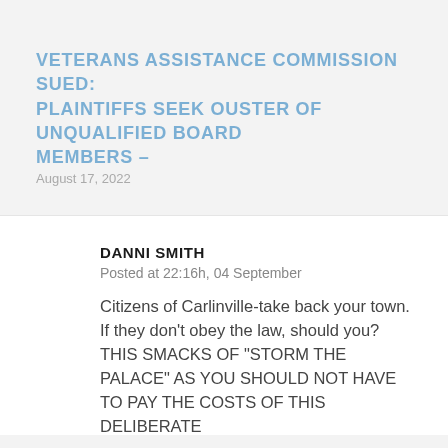VETERANS ASSISTANCE COMMISSION SUED: PLAINTIFFS SEEK OUSTER OF UNQUALIFIED BOARD MEMBERS –
August 17, 2022
DANNI SMITH
Posted at 22:16h, 04 September
Citizens of Carlinville-take back your town. If they don't obey the law, should you? THIS SMACKS OF "STORM THE PALACE" AS YOU SHOULD NOT HAVE TO PAY THE COSTS OF THIS DELIBERATE